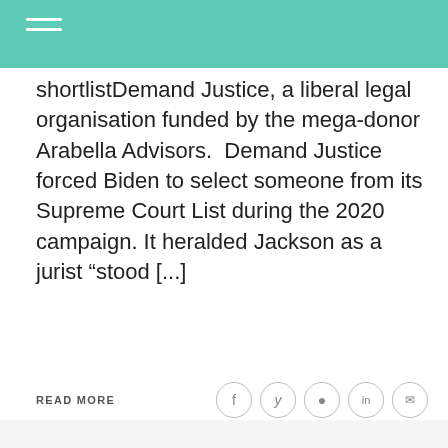Navigation menu header bar
shortlistDemand Justice, a liberal legal organisation funded by the mega-donor Arabella Advisors.  Demand Justice forced Biden to select someone from its Supreme Court List during the 2020 campaign. It heralded Jackson as a jurist “stood [...]
READ MORE
[Figure (screenshot): Victoria's Secret advertisement with model, VS logo, 'SHOP THE COLLECTION' text and 'SHOP NOW' button on pink background. Infolinks badge visible.]